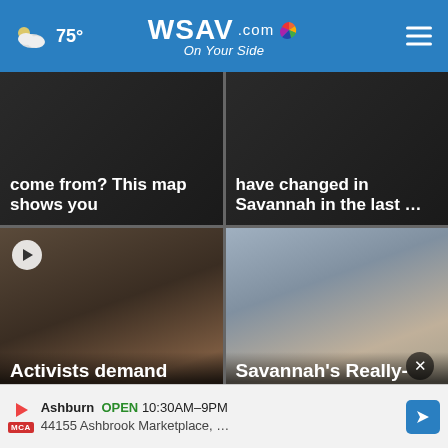75° WSAV.com On Your Side
[Figure (screenshot): News card top-left: text overlay 'come from? This map shows you' on dark background]
[Figure (screenshot): News card top-right: text overlay 'have changed in Savannah in the last ...' on dark background]
[Figure (photo): News card bottom-left: photo of activists group gathering, with play button overlay; headline 'Activists demand body cam footage of Jun...']
[Figure (photo): News card bottom-right: photo of woman pointing in office/classroom; headline 'Savannah's Really-Virtual emerges offering']
Ashburn OPEN 10:30AM–9PM 44155 Ashbrook Marketplace, ...